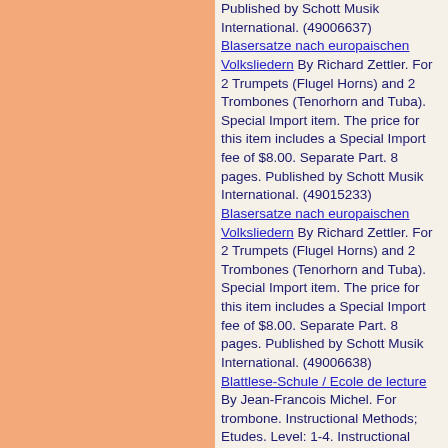Published by Schott Musik International. (49006637) Blasersatze nach europaischen Volksliedern By Richard Zettler. For 2 Trumpets (Flugel Horns) and 2 Trombones (Tenorhorn and Tuba). Special Import item. The price for this item includes a Special Import fee of $8.00. Separate Part. 8 pages. Published by Schott Musik International. (49015233) Blasersatze nach europaischen Volksliedern By Richard Zettler. For 2 Trumpets (Flugel Horns) and 2 Trombones (Tenorhorn and Tuba). Special Import item. The price for this item includes a Special Import fee of $8.00. Separate Part. 8 pages. Published by Schott Musik International. (49006638) Blattlese-Schule / Ecole de lecture By Jean-Francois Michel. For trombone. Instructional Methods; Etudes. Level: 1-4. Instructional method. Published by Editions Marc Reift (Swiss import). (EMR 111) Blau op. 2 By Emely Zobel. For trombone. Work premeried: 9.11.1994 Musikhochschule Weimar, Andreas Roth. Level: advanced. Full